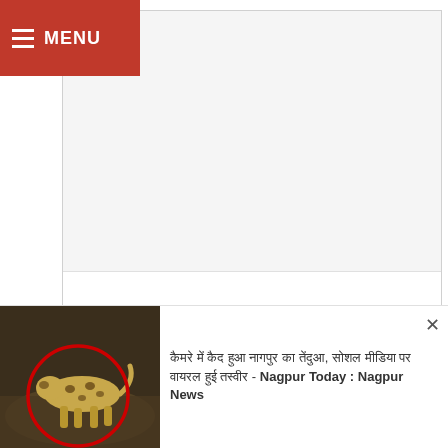MENU
Alyona Talukdar
[Figure (screenshot): Card with broken image placeholder icon at top]
[Figure (photo): Leopard walking on ground, circled in red, notification bar]
कैमरे में कैद हुआ नागपुर का तेंदुआ, सोशल मीडिया पर वायरल हुई तस्वीर - Nagpur Today : Nagpur News